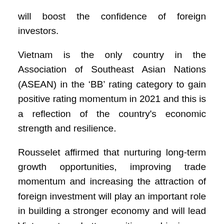will boost the confidence of foreign investors.
Vietnam is the only country in the Association of Southeast Asian Nations (ASEAN) in the ‘BB’ rating category to gain positive rating momentum in 2021 and this is a reflection of the country's economic strength and resilience.
Rousselet affirmed that nurturing long-term growth opportunities, improving trade momentum and increasing the attraction of foreign investment will play an important role in building a stronger economy and will lead Vietnam to a better position, achieving an investment rating in the medium term.
Lunar new year get-togethers held for overseas Vietnamese